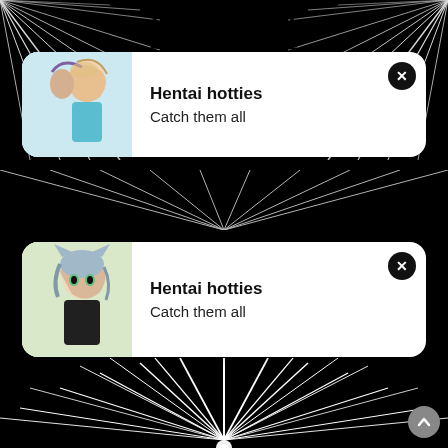L 48L 1:18 앞뒤 알리듣기앙
[Figure (screenshot): Notification card 1: Hentai hotties - Catch them all, with anime character image]
[Figure (screenshot): Notification card 2: Hentai hotties - Catch them all, with anime character image]
[Figure (illustration): Black background with white manga-style radial burst lines at bottom center]